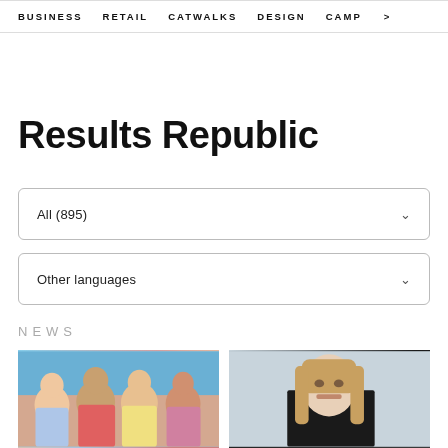BUSINESS   RETAIL   CATWALKS   DESIGN   CAMP >
Results Republic
All (895)
Other languages
NEWS
[Figure (photo): Group of young women laughing outdoors against a blue sky]
[Figure (photo): Young woman with long blonde hair against a dark background]